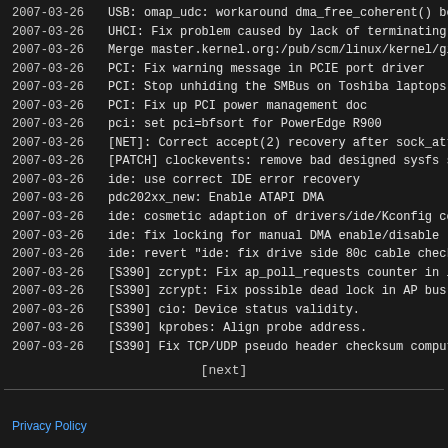2007-03-26  USB: omap_udc: workaround dma_free_coherent() bog
2007-03-26  UHCI: Fix problem caused by lack of terminating QH
2007-03-26  Merge master.kernel.org:/pub/scm/linux/kernel/git/bart/id
2007-03-26  PCI: Fix warning message in PCIE port driver
2007-03-26  PCI: Stop unhiding the SMBus on Toshiba laptops
2007-03-26  PCI: Fix up PCI power management doc
2007-03-26  pci: set pci=bfsort for PowerEdge R900
2007-03-26  [NET]: Correct accept(2) recovery after sock_attach_fd(
2007-03-26  [PATCH] clockevents: remove bad designed sysfs supp
2007-03-26  ide: use correct IDE error recovery
2007-03-26  pdc202xx_new: Enable ATAPI DMA
2007-03-26  ide: cosmetic adaption of drivers/ide/Kconfig concerning
2007-03-26  ide: fix locking for manual DMA enable/disable ("hdparm
2007-03-26  ide: revert "ide: fix drive side 80c cable check, take 2" fo
2007-03-26  [S390] zcrypt: Fix ap_poll_requests counter in lost reque
2007-03-26  [S390] zcrypt: Fix possible dead lock in AP bus module.
2007-03-26  [S390] cio: Device status validity.
2007-03-26  [S390] kprobes: Align probe address.
2007-03-26  [S390] Fix TCP/UDP pseudo header checksum computa
[next]
Privacy Policy